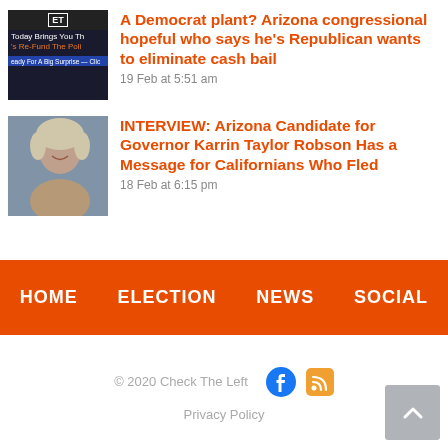[Figure (screenshot): Thumbnail image showing dark background with news site logo and text about Re-Fund The Police]
A Democrat plant? Arizona congressional hopeful who says he’s Republican wants to eliminate cash bail
19 Feb at 5:51 am
[Figure (photo): Photo of a smiling woman with blonde hair]
INTERVIEW: Arizona Candidate for Governor Karrin Taylor Robson Has a Message for Californians Who Fled
18 Feb at 6:15 pm
HOME  ELECTION  NEWS  SOCIAL
© 2020 Check The Left   Privacy Policy